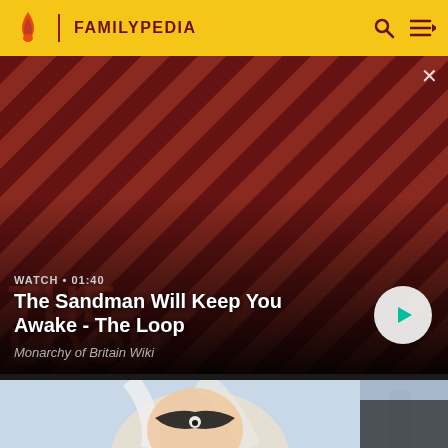FAMILYPEDIA
[Figure (screenshot): Video card showing The Sandman character (dark figure with black bird on shoulder) against red diagonal striped background. Title: 'The Sandman Will Keep You Awake - The Loop'. Duration: 01:40. Attribution: Monarchy of Britain Wiki. Play button visible bottom right.]
[Figure (illustration): Partial illustration of a female character with white hair, black mask, in a comic book / anime art style. Partially visible at bottom of page.]